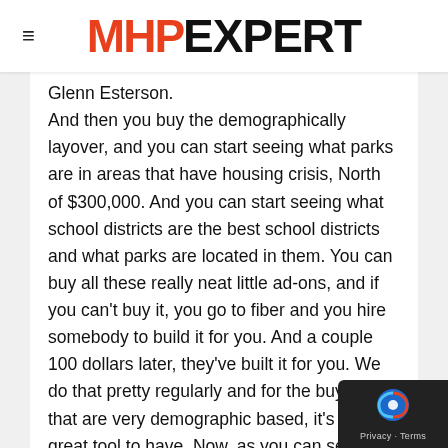MHP EXPERT
Glenn Esterson. And then you buy the demographically layover, and you can start seeing what parks are in areas that have housing crisis, North of $300,000. And you can start seeing what school districts are the best school districts and what parks are located in them. You can buy all these really neat little ad-ons, and if you can't buy it, you go to fiber and you hire somebody to build it for you. And a couple 100 dollars later, they've built it for you. We do that pretty regularly and for the buyers that are very demographic based, it's a great, great tool to have. Now, as you can see how slow my Google Earth is now, because I